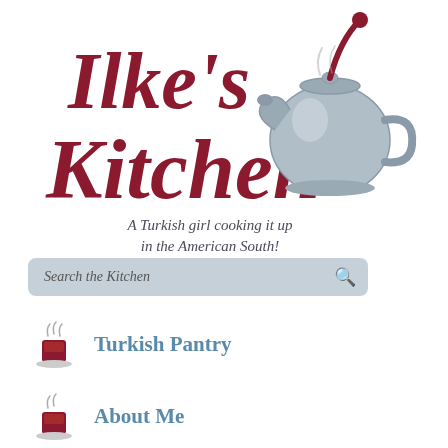[Figure (logo): Ilke's Kitchen logo with decorative cursive text and a blue teapot illustration]
A Turkish girl cooking it up in the American South!
[Figure (other): Search bar with magnifier icon labeled 'Search the Kitchen']
Turkish Pantry
About Me
[Figure (illustration): Decorative vine with flowers divider]
When
Jun 22, 2
Time in Spain. The usual nig version of tap around a table Got used to e doable becaus
[Figure (photo): Partial food photograph in a dashed border frame]